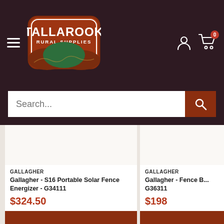[Figure (logo): Tallarook Rural Supplies logo - red rounded rectangle with white text TALLAROOK and RURAL SUPPLIES, with green/brown hill wave shapes at the bottom]
Search...
GALLAGHER
Gallagher - S16 Portable Solar Fence Energizer - G34111
$324.50
GALLAGHER
Gallagher - Fence B... G36311
$198